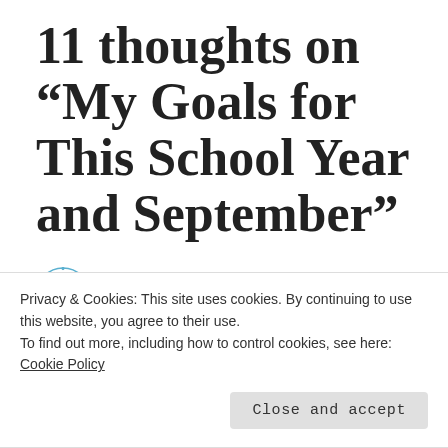11 thoughts on “My Goals for This School Year and September”
GIANNA
September 2, 2020 at 7:45 pm
I hope you achieve all your goals for September
Privacy & Cookies: This site uses cookies. By continuing to use this website, you agree to their use.
To find out more, including how to control cookies, see here: Cookie Policy